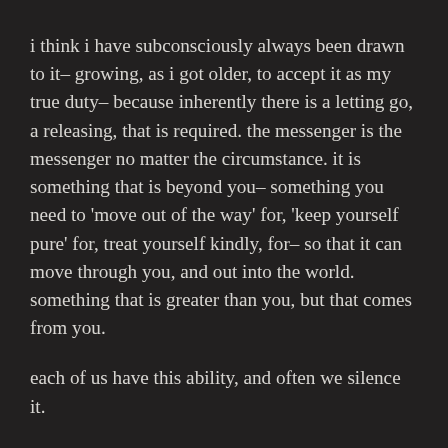i think i have subconsciously always been drawn to it– growing, as i got older, to accept it as my true duty– because inherently there is a letting go, a releasing, that is required. the messenger is the messenger no matter the circumstance. it is something that is beyond you– something you need to 'move out of the way' for, 'keep yourself pure' for, treat yourself kindly, for– so that it can move through you, and out into the world. something that is greater than you, but that comes from you.
each of us have this ability, and often we silence it.